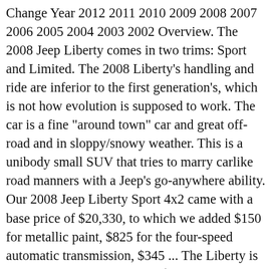Change Year 2012 2011 2010 2009 2008 2007 2006 2005 2004 2003 2002 Overview. The 2008 Jeep Liberty comes in two trims: Sport and Limited. The 2008 Liberty's handling and ride are inferior to the first generation's, which is not how evolution is supposed to work. The car is a fine "around town" car and great off-road and in sloppy/snowy weather. This is a unibody small SUV that tries to marry carlike road manners with a Jeep's go-anywhere ability. Our 2008 Jeep Liberty Sport 4x2 came with a base price of $20,330, to which we added $150 for metallic paint, $825 for the four-speed automatic transmission, $345 ... The Liberty is priced affordably, starting at $20,990 for the 2WD Sport Model. Jeep testers at Automobile.com recognized the Nitro inside the 2008 Jeep Liberty, too. For Jeep, 2008 is a year of plasticky interiors, from the entry-level Compass right up to the 2008 Liberty. ... First introduced in 2002 and last